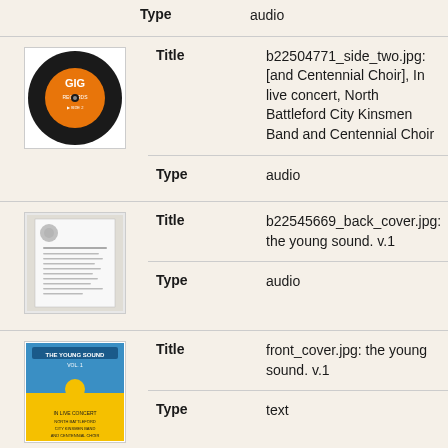Type    audio
[Figure (photo): Vinyl record label with orange circle and 'GIG' text in white]
Title    b22504771_side_two.jpg: [and Centennial Choir], In live concert, North Battleford City Kinsmen Band and Centennial Choir
Type    audio
[Figure (photo): Document back cover thumbnail, grayscale, text-heavy page]
Title    b22545669_back_cover.jpg: the young sound. v.1
Type    audio
[Figure (photo): Album front cover with blue and yellow background and illustrated figure]
Title    front_cover.jpg: the young sound. v.1
Type    text
[Figure (photo): Partial thumbnail of another record or document, partially visible at bottom]